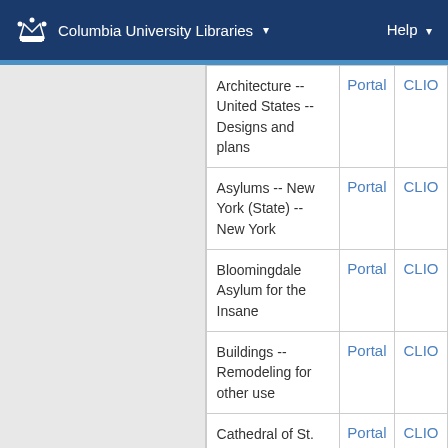Columbia University Libraries  Help
| Subject | Portal | CLIO |
| --- | --- | --- |
| Architecture -- United States -- Designs and plans | Portal | CLIO |
| Asylums -- New York (State) -- New York | Portal | CLIO |
| Bloomingdale Asylum for the Insane | Portal | CLIO |
| Buildings -- Remodeling for other use | Portal | CLIO |
| Cathedral of St. John the Divine (N... | Portal | CLIO |